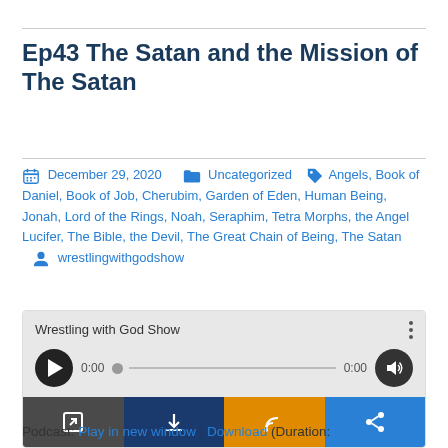Ep43 The Satan and the Mission of The Satan
December 29, 2020   Uncategorized   Angels, Book of Daniel, Book of Job, Cherubim, Garden of Eden, Human Being, Jonah, Lord of the Rings, Noah, Seraphim, Tetra Morphs, the Angel Lucifer, The Bible, the Devil, The Great Chain of Being, The Satan   wrestlingwithgodshow
[Figure (screenshot): Audio player widget for 'Wrestling with God Show' podcast episode. Shows play button, progress bar at 0:00, volume button, and four action buttons: open in new window (gray), download (dark blue), RSS feed (orange), share (blue).]
Podcast: Play in new window | Download (Duration: